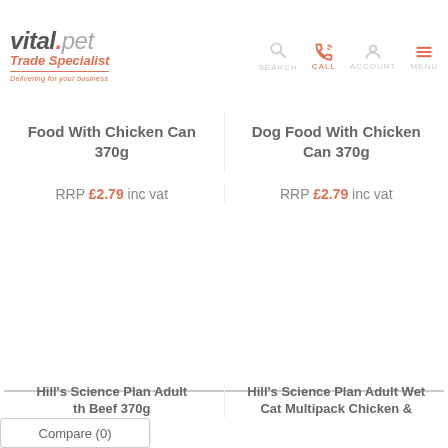vital.pet Trade Specialist — Delivering for your business | SEARCH | CALL | ACCOUNT | MENU
Food With Chicken Can 370g
RRP £2.79 inc vat
Dog Food With Chicken Can 370g
RRP £2.79 inc vat
Hill's Science Plan Adult
th Beef 370g
Hill's Science Plan Adult Wet Cat Multipack Chicken &